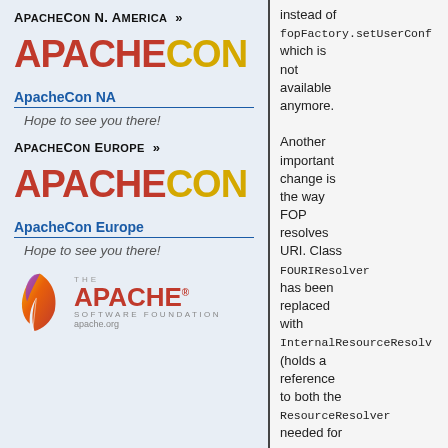ApacheCon N. America »
[Figure (logo): ApacheCon logo in red and gold: APACHE in red, CON in gold]
ApacheCon NA
Hope to see you there!
ApacheCon Europe »
[Figure (logo): ApacheCon logo in red and gold: APACHE in red, CON in gold]
ApacheCon Europe
Hope to see you there!
[Figure (logo): The Apache Software Foundation logo with feather and text apache.org]
instead of fopFactory.setUserConf... which is not available anymore.

Another important change is the way FOP resolves URI. Class FOURIResolver has been replaced with InternalResourceResolv... (holds a reference to both the ResourceResolver needed for resource acquisition and the base URI from which